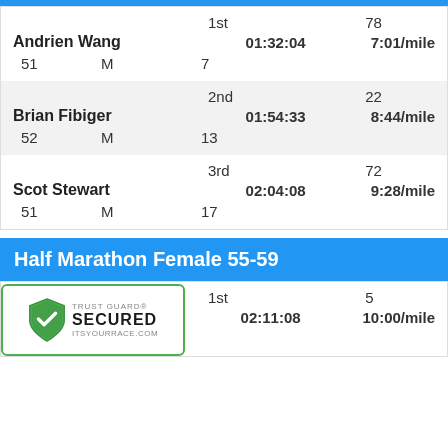| 1st | 78 |  |  |
| Andrien Wang |  | 01:32:04 | 7:01/mile |
| 51 | M | 7 |  |
| 2nd | 22 |  |  |
| Brian Fibiger |  | 01:54:33 | 8:44/mile |
| 52 | M | 13 |  |
| 3rd | 72 |  |  |
| Scot Stewart |  | 02:04:08 | 9:28/mile |
| 51 | M | 17 |  |
Half Marathon Female 55-59
| 1st | 5 |  |  |
| Helen Brooks |  | 02:11:08 | 10:00/mile |
| 19 |  |  |  |